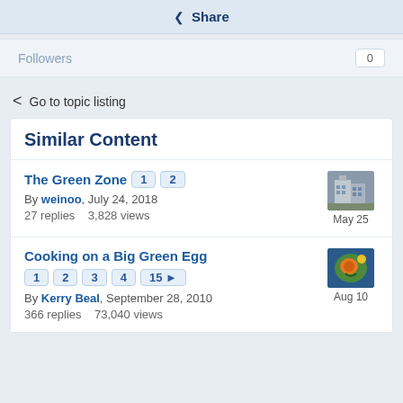Share
Followers   0
< Go to topic listing
Similar Content
The Green Zone  1  2
By weinoo, July 24, 2018
27 replies   3,828 views
May 25
Cooking on a Big Green Egg  1  2  3  4  15▶
By Kerry Beal, September 28, 2010
366 replies   73,040 views
Aug 10